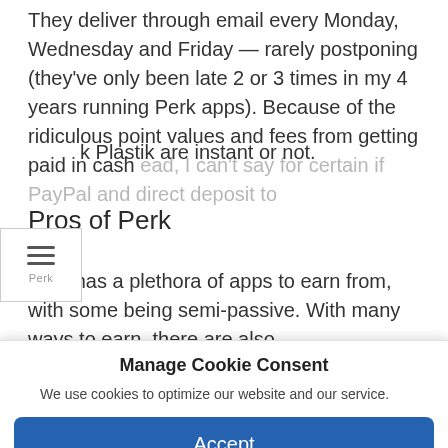They deliver through email every Monday, Wednesday and Friday — rarely postponing (they've only been late 2 or 3 times in my 4 years running Perk apps). Because of the ridiculous point values and fees from getting paid in cash ahead, I can't say for certain if PayPal and direct deposit to Perk Plastik are instant or not.
Pros of Perk
Perk has a plethora of apps to earn from, with some being semi-passive. With many ways to earn, there are also
Manage Cookie Consent
We use cookies to optimize our website and our service.
Accept